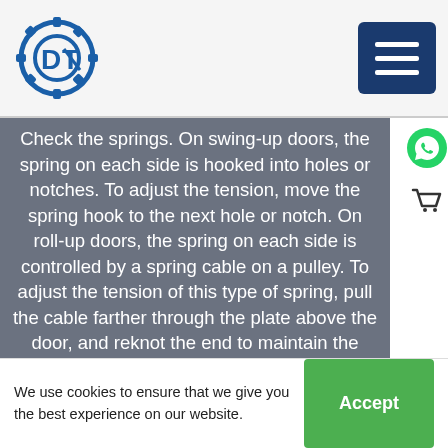DT logo and navigation menu
Check the springs. On swing-up doors, the spring on each side is hooked into holes or notches. To adjust the tension, move the spring hook to the next hole or notch. On roll-up doors, the spring on each side is controlled by a spring cable on a pulley. To adjust the tension of this type of spring, pull the cable farther through the plate above the door, and reknot the end to maintain the tension. Caution: Do not try to repair a Spring or replace it. The tension is so great that the spring could injure you. For doors with this
We use cookies to ensure that we give you the best experience on our website. Accept